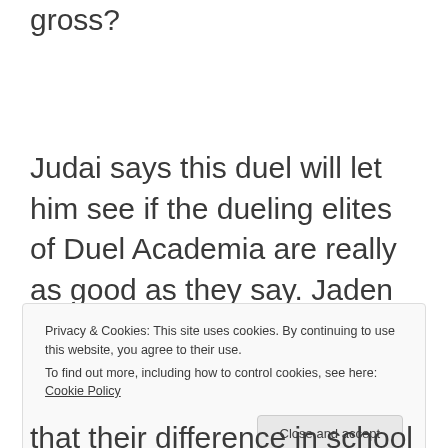gross?
Judai says this duel will let him see if the dueling elites of Duel Academia are really as good as they say. Jaden says this duel will decide which of them will be the next King of Games.
Privacy & Cookies: This site uses cookies. By continuing to use this website, you agree to their use.
To find out more, including how to control cookies, see here: Cookie Policy
that their difference in school rank reflects